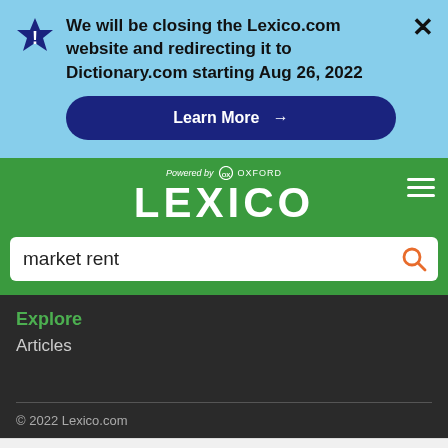We will be closing the Lexico.com website and redirecting it to Dictionary.com starting Aug 26, 2022
[Figure (screenshot): Lexico.com website screenshot showing a closure notification banner, the Lexico Powered by Oxford logo, a search bar with 'market rent', an Explore section, Articles link, footer with 2022 copyright, and a CoinFlip Bitcoin ATM advertisement at the bottom.]
Learn More →
LEXICO Powered by OXFORD
market rent
Explore
Articles
© 2022 Lexico.com
3,700+ Bitcoin ATMs Nationwid CoinFlip Bitcoin ATM